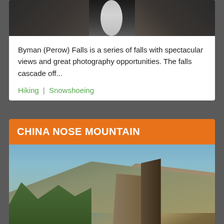[Figure (photo): Waterfall cascading through dark rocky canyon with long exposure blur effect creating silky white water stream]
Byman (Perow) Falls is a series of falls with spectacular views and great photography opportunities. The falls cascade off...
Hiking | Snowshoeing
CHINA NOSE MOUNTAIN
[Figure (photo): Dramatic mountain landscape showing a rocky cliff edge dropping into a deep valley with distant forested ridges under a hazy blue sky]